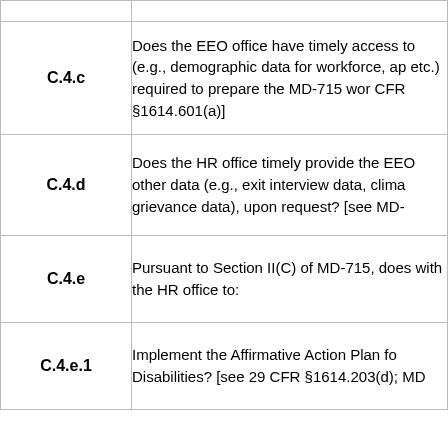| Code | Description |
| --- | --- |
| C.4.c | Does the EEO office have timely access to (e.g., demographic data for workforce, ap etc.) required to prepare the MD-715 wor CFR §1614.601(a)] |
| C.4.d | Does the HR office timely provide the EEO other data (e.g., exit interview data, clima grievance data), upon request? [see MD- |
| C.4.e | Pursuant to Section II(C) of MD-715, does with the HR office to: |
| C.4.e.1 | Implement the Affirmative Action Plan fo Disabilities? [see 29 CFR §1614.203(d); MD |